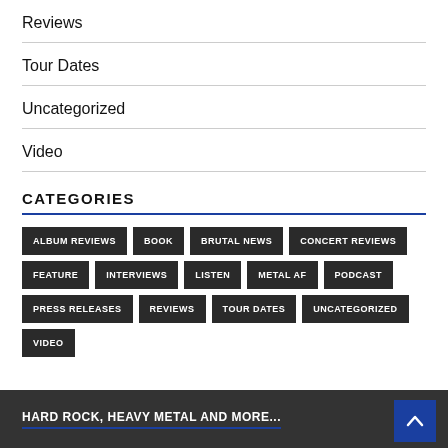Reviews
Tour Dates
Uncategorized
Video
CATEGORIES
ALBUM REVIEWS
BOOK
BRUTAL NEWS
CONCERT REVIEWS
FEATURE
INTERVIEWS
LISTEN
METAL AF
PODCAST
PRESS RELEASES
REVIEWS
TOUR DATES
UNCATEGORIZED
VIDEO
HARD ROCK, HEAVY METAL AND MORE...